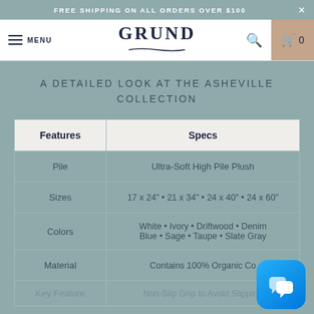FREE SHIPPING ON ALL ORDERS OVER $100
[Figure (logo): GRUND brand logo with decorative underline, hamburger menu and MENU text on left, search icon and cart (0) on right]
A DETAILED LOOK AT THE ASHEVILLE COLLECTION
| Features | Specs |
| --- | --- |
| Pile | Ultra-Soft High Pile Plush |
| Sizes | 17 x 24" • 21 x 34" • 24 x 40" • 24 x 60" |
| Colors | White • Ivory • Driftwood • Denim Blue • Sage • Taupe • Slate Gray |
| Material | Contains 100% Organic Co... |
| Key Feature | Non-Slip Grip to Avoid Slipping |